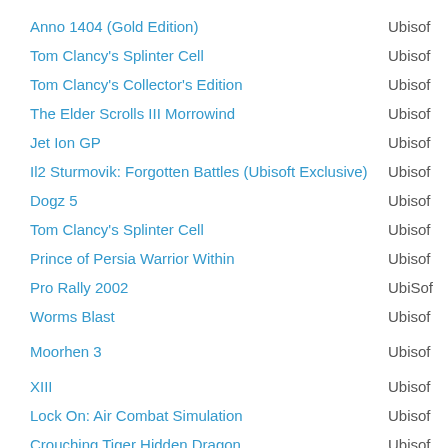Anno 1404 (Gold Edition)   Ubisoft
Tom Clancy's Splinter Cell   Ubisoft
Tom Clancy's Collector's Edition   Ubisoft
The Elder Scrolls III Morrowind   Ubisoft
Jet Ion GP   Ubisoft
Il2 Sturmovik: Forgotten Battles (Ubisoft Exclusive)   Ubisoft
Dogz 5   Ubisoft
Tom Clancy's Splinter Cell   Ubisoft
Prince of Persia Warrior Within   Ubisoft
Pro Rally 2002   UbiSoft
Worms Blast   Ubisoft
Moorhen 3   Ubisoft
XIII   Ubisoft
Lock On: Air Combat Simulation   Ubisoft
Crouching Tiger Hidden Dragon   Ubisoft